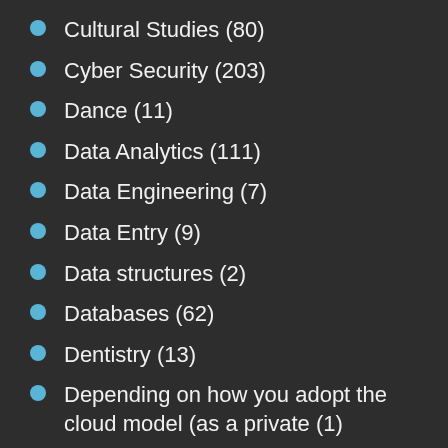Cultural Studies (80)
Cyber Security (203)
Dance (11)
Data Analytics (111)
Data Engineering (7)
Data Entry (9)
Data structures (2)
Databases (62)
Dentistry (13)
Depending on how you adopt the cloud model (as a private (1)
Design (13)
Developmental Economics (6)
Dietetics (2)
Differential Equations (10)